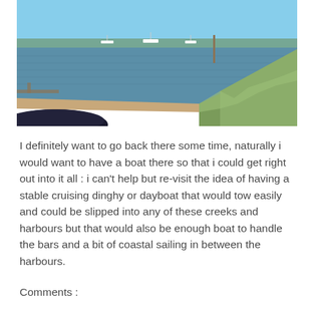[Figure (photo): A coastal harbour scene showing calm blue water with several small boats moored in the distance. In the foreground on the right is a grassy embankment/hillside, and on the left the bow of a dark boat is visible. Sunny day with blue sky.]
I definitely want to go back there some time, naturally i would want to have a boat there so that i could get right out into it all : i can't help but re-visit the idea of having a stable cruising dinghy or dayboat that would tow easily and could be slipped into any of these creeks and harbours but that would also be enough boat to handle the bars and a bit of coastal sailing in between the harbours.
Comments :